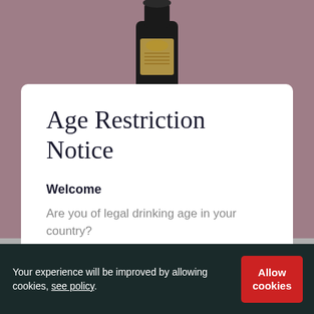[Figure (photo): Top of a dark wine/beer bottle with a gold label, partially visible against a mauve/rose background]
Age Restriction Notice
Welcome
Are you of legal drinking age in your country?
Accept
Decline
Your experience will be improved by allowing cookies, see policy.
Allow cookies